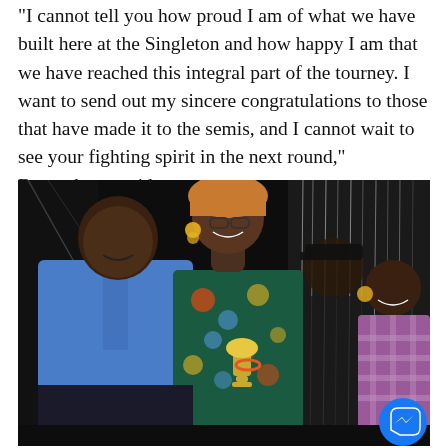"I cannot tell you how proud I am of what we have built here at the Singleton and how happy I am that we have reached this integral part of the tourney. I want to send out my sincere congratulations to those that have made it to the semis, and I cannot wait to see your fighting spirit in the next round," Byamukama said.
[Figure (photo): Photo of a man in a blue shirt and a woman in a colorful African print dress holding a trophy, seated together at an event. In the background are additional people and hanging white rope/cord decorations. A Facebook Messenger icon appears in the bottom right corner.]